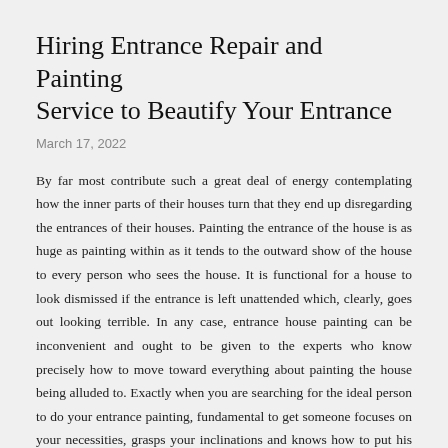Hiring Entrance Repair and Painting Service to Beautify Your Entrance
March 17, 2022
By far most contribute such a great deal of energy contemplating how the inner parts of their houses turn that they end up disregarding the entrances of their houses. Painting the entrance of the house is as huge as painting within as it tends to the outward show of the house to every person who sees the house. It is functional for a house to look dismissed if the entrance is left unattended which, clearly, goes out looking terrible. In any case, entrance house painting can be inconvenient and ought to be given to the experts who know precisely how to move toward everything about painting the house being alluded to. Exactly when you are searching for the ideal person to do your entrance painting, fundamental to get someone focuses on your necessities, grasps your inclinations and knows how to put his capacities to use in making the house look as incredible as you wish for it to be.